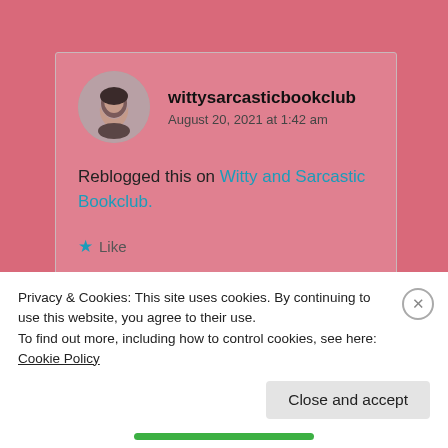[Figure (screenshot): Blog comment screenshot on pink background. Shows user 'wittysarcasticbookclub' with avatar, date 'August 20, 2021 at 1:42 am', comment text 'Reblogged this on Witty and Sarcastic Bookclub.', Like and Reply buttons.]
Privacy & Cookies: This site uses cookies. By continuing to use this website, you agree to their use.
To find out more, including how to control cookies, see here: Cookie Policy
Close and accept